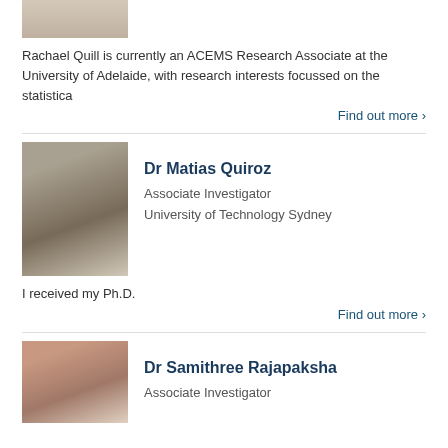[Figure (photo): Partial photo of Rachael Quill at top of page]
Rachael Quill is currently an ACEMS Research Associate at the University of Adelaide, with research interests focussed on the statistica
Find out more ›
[Figure (photo): Photo of Dr Matias Quiroz standing in front of a whiteboard with mathematical notation]
Dr Matias Quiroz
Associate Investigator
University of Technology Sydney
I received my Ph.D.
Find out more ›
[Figure (photo): Photo of Dr Samithree Rajapaksha]
Dr Samithree Rajapaksha
Associate Investigator